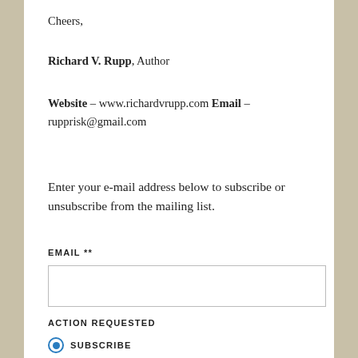Cheers,
Richard V. Rupp, Author
Website – www.richardvrupp.com Email – rupprisk@gmail.com
Enter your e-mail address below to subscribe or unsubscribe from the mailing list.
EMAIL **
ACTION REQUESTED
SUBSCRIBE
UNSUBSCRIBE